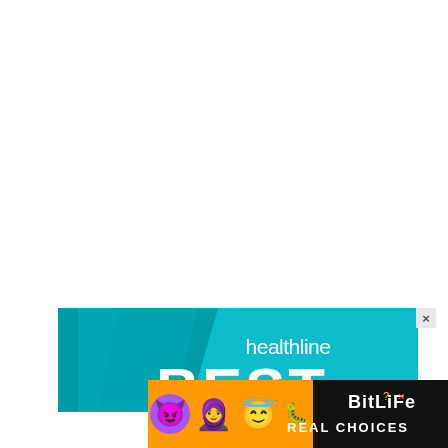[Figure (illustration): Healthline advertisement banner with teal/cyan background, dark teal geometric shape on left, 'healthline' logo text in white on right, large white bold 'BEST' text at bottom left]
[Figure (illustration): BitLife mobile game advertisement banner with orange/yellow gradient background, emoji characters (devil, woman, angel, sperm), BitLife logo with question and X icons, 'REAL CHOICES' text on black background]